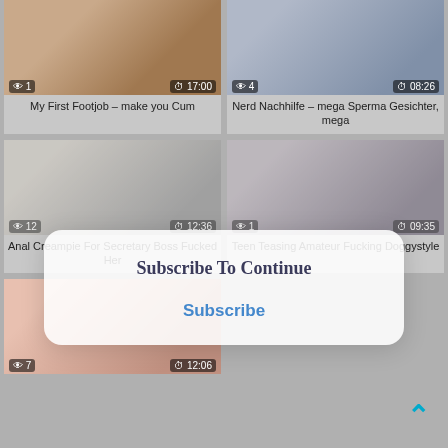[Figure (screenshot): Video thumbnail 1 - My First Footjob]
My First Footjob – make you Cum
[Figure (screenshot): Video thumbnail 2 - Nerd Nachhilfe]
Nerd Nachhilfe – mega Sperma Gesichter, mega
[Figure (screenshot): Video thumbnail 3 - Anal Creampie]
Anal Creampie For Secretary Boss Fucked Her
[Figure (screenshot): Video thumbnail 4 - Teen Teasing Amateur]
Teen Teasing Amateur Fucking Doggystyle
[Figure (screenshot): Video thumbnail 5 - bottom left]
Subscribe To Continue
Subscribe